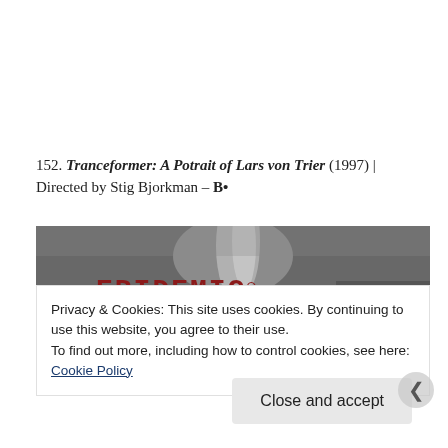152. Tranceformer: A Potrait of Lars von Trier (1997) | Directed by Stig Bjorkman – B•
[Figure (photo): Black and white still from a film showing grass/foliage with red text overlay reading 'EPIDEMIC©']
Privacy & Cookies: This site uses cookies. By continuing to use this website, you agree to their use.
To find out more, including how to control cookies, see here: Cookie Policy
Close and accept